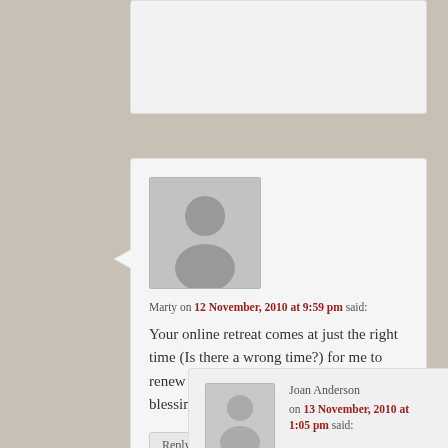[Figure (screenshot): Partially visible comment box at the top of the page]
Marty on 12 November, 2010 at 9:59 pm said:
Your online retreat comes at just the right time (Is there a wrong time?) for me to renew my commitment to myself. A true blessing!
Reply ↓
Joan Anderson on 13 November, 2010 at 1:05 pm said: